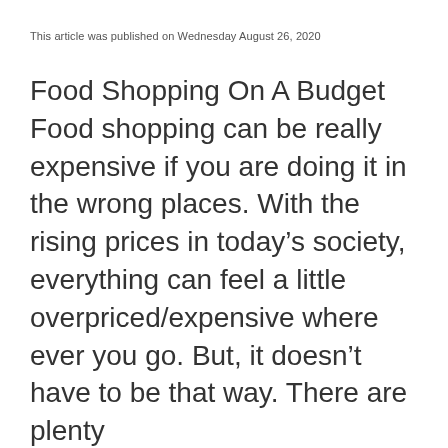This article was published on Wednesday August 26, 2020
Food Shopping On A Budget Food shopping can be really expensive if you are doing it in the wrong places. With the rising prices in today’s society, everything can feel a little overpriced/expensive where ever you go. But, it doesn’t have to be that way. There are plenty